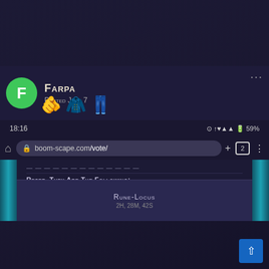[Figure (screenshot): Social media post screenshot showing user Farpa posting on boom-scape.com/vote/ about voting rewards. The post includes: avatar with letter F, username Farpa, Posted June 7, item icons, status bar at 18:16 with 59% battery, browser address bar, website content showing voting rewards (1st=100 Bonds, 2nd=50 Bonds, 3rd=25 Bonds), voting as Farpa with Reset Username button, and Rune-Locus vote option at bottom.]
FARPA
Posted June 7
RESET, THEY ARE THE FOLLOWING:
1ST = 100 Bonds
2ND = 50 Bonds
3RD = 25 Bonds
Good Luck!
Voting as: Farpa
RESET USERNAME
Rune-Locus
2H, 28M, 42S